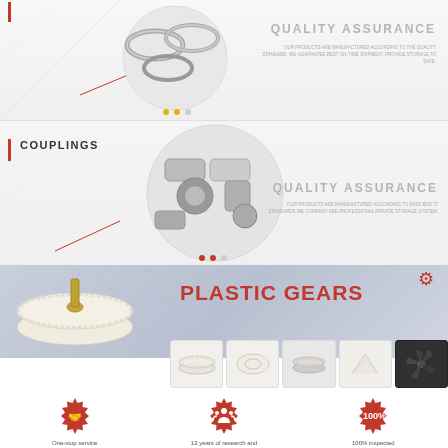[Figure (photo): Metal shaft collars/rings shown in circular frame, top section]
QUALITY ASSURANCE
OUR PRODUCTS ARE MANUFACTURED ACCORDING TO THE QUALITY STANDARD. WE GUARANTEE BEST ON-TIME SHIPMENT. PROVIDE STORAGE TO SAVE.
COUPLINGS
[Figure (photo): Various metal couplings shown in circular frame, middle section]
QUALITY ASSURANCE
OUR PRODUCTS ARE MANUFACTURED ACCORDING TO PASS BDS 77 STANDARDS WE COMPANY ARE PROFESSIONAL PRIVATE STORAGE SYSTEM.
PLASTIC GEARS
[Figure (photo): Large plastic gear with brass insert, engineering blueprint background]
[Figure (photo): Row of five plastic gear product thumbnails]
[Figure (infographic): Red gear icon with handshake symbol]
One-stop service from R&D, design
[Figure (infographic): Red gear icon with team/people symbol]
12 years of research and development experience
[Figure (infographic): Red gear icon with 100% text]
100% inspected before packing